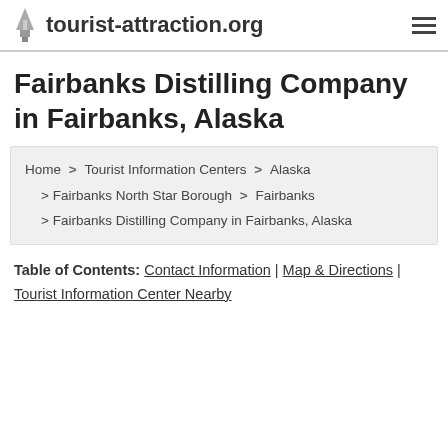tourist-attraction.org
Fairbanks Distilling Company in Fairbanks, Alaska
Home > Tourist Information Centers > Alaska > Fairbanks North Star Borough > Fairbanks > Fairbanks Distilling Company in Fairbanks, Alaska
Table of Contents: Contact Information | Map & Directions | Tourist Information Center Nearby